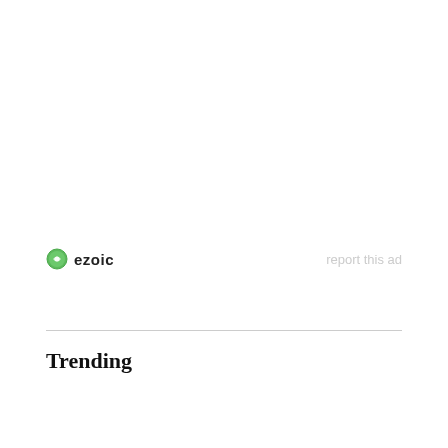[Figure (logo): Ezoic logo with green circular icon and bold 'ezoic' text, alongside 'report this ad' link]
Trending